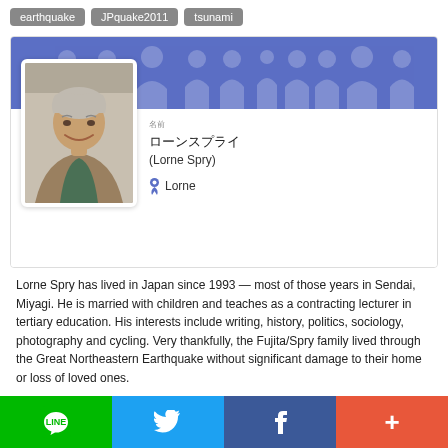earthquake
JPquake2011
tsunami
[Figure (photo): Profile card with blue banner background showing silhouette icons, a photo of Lorne Spry (middle-aged man with grey hair smiling), Japanese name label, name in Japanese characters, (Lorne Spry), and Lorne nickname with person icon]
Lorne Spry has lived in Japan since 1993 — most of those years in Sendai, Miyagi. He is married with children and teaches as a contracting lecturer in tertiary education. His interests include writing, history, politics, sociology, photography and cycling. Very thankfully, the Fujita/Spry family lived through the Great Northeastern Earthquake without significant damage to their home or loss of loved ones.
LINE  Twitter  Facebook  +